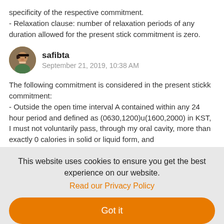specificity of the respective commitment.
- Relaxation clause: number of relaxation periods of any duration allowed for the present stick commitment is zero.
safibta
September 21, 2019, 10:38 AM
The following commitment is considered in the present stickk commitment:
- Outside the open time interval A contained within any 24 hour period and defined as (0630,1200)u(1600,2000) in KST, I must not voluntarily pass, through my oral cavity, more than exactly 0 calories in solid or liquid form, and
This website uses cookies to ensure you get the best experience on our website.
Read our Privacy Policy
Got it